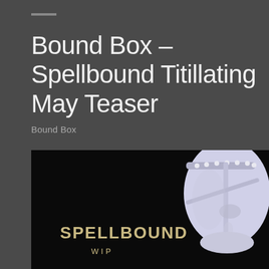Bound Box – Spellbound Titillating May Teaser
Bound Box
[Figure (illustration): Dark background promotional image showing a white/silver 3D rendered mask or head with leather straps and studs, with gold text 'SPELLBOUND' and 'WIP' overlaid on the left side]